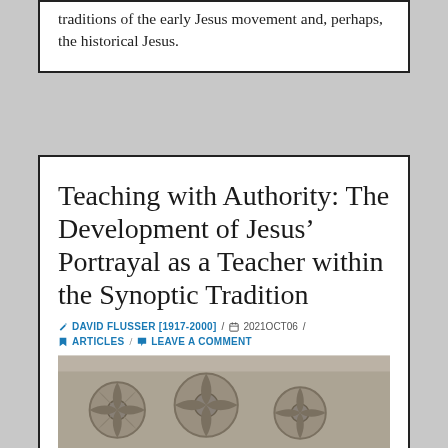traditions of the early Jesus movement and, perhaps, the historical Jesus.
Teaching with Authority: The Development of Jesus’ Portrayal as a Teacher within the Synoptic Tradition
DAVID FLUSSER [1917-2000] / 2021OCT06 / ARTICLES / LEAVE A COMMENT
[Figure (photo): Stone carving relief showing decorative floral/rosette patterns carved in stone, photographed in grayscale]